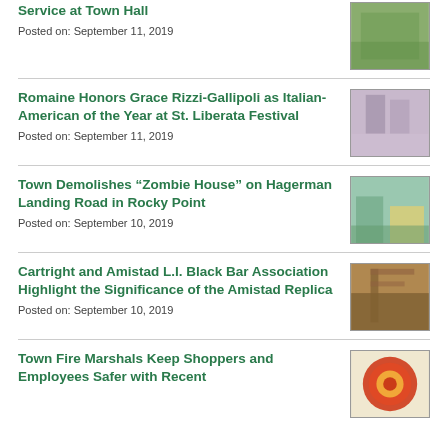Service at Town Hall
Posted on: September 11, 2019
Romaine Honors Grace Rizzi-Gallipoli as Italian-American of the Year at St. Liberata Festival
Posted on: September 11, 2019
Town Demolishes “Zombie House” on Hagerman Landing Road in Rocky Point
Posted on: September 10, 2019
Cartright and Amistad L.I. Black Bar Association Highlight the Significance of the Amistad Replica
Posted on: September 10, 2019
Town Fire Marshals Keep Shoppers and Employees Safer with Recent